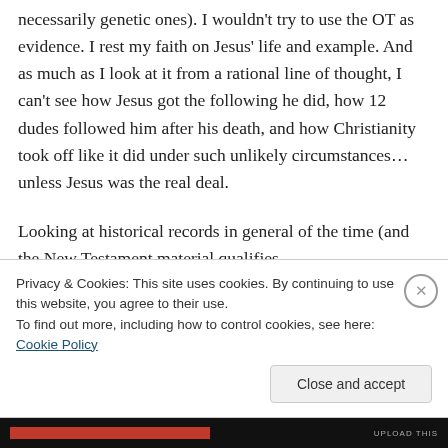necessarily genetic ones). I wouldn't try to use the OT as evidence. I rest my faith on Jesus' life and example. And as much as I look at it from a rational line of thought, I can't see how Jesus got the following he did, how 12 dudes followed him after his death, and how Christianity took off like it did under such unlikely circumstances…unless Jesus was the real deal.

Looking at historical records in general of the time (and the New Testament material qualifies
Privacy & Cookies: This site uses cookies. By continuing to use this website, you agree to their use.
To find out more, including how to control cookies, see here: Cookie Policy
Close and accept